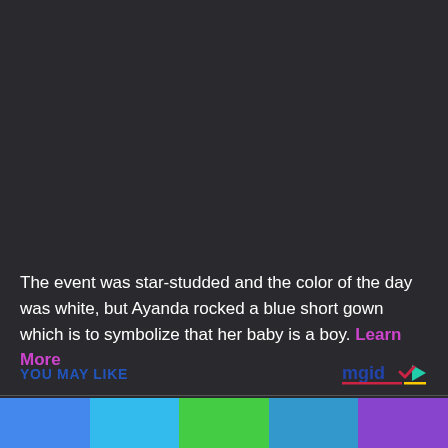[Figure (photo): Dark background image taking up the upper portion of the page]
The event was star-studded and the color of the day was white, but Ayanda rocked a blue short gown which is to symbolize that her baby is a boy. Learn More
YOU MAY LIKE
[Figure (logo): mgid logo in bottom right]